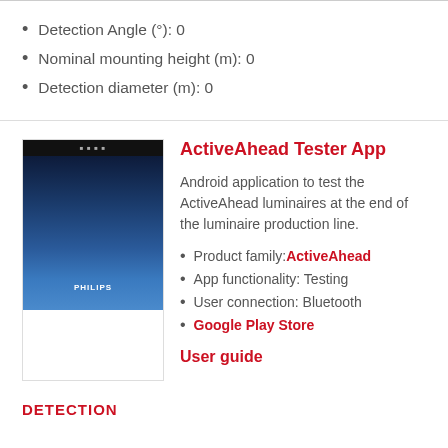Detection Angle (°): 0
Nominal mounting height (m): 0
Detection diameter (m): 0
ActiveAhead Tester App
Android application to test the ActiveAhead luminaires at the end of the luminaire production line.
Product family: ActiveAhead
App functionality: Testing
User connection: Bluetooth
Google Play Store
User guide
DETECTION